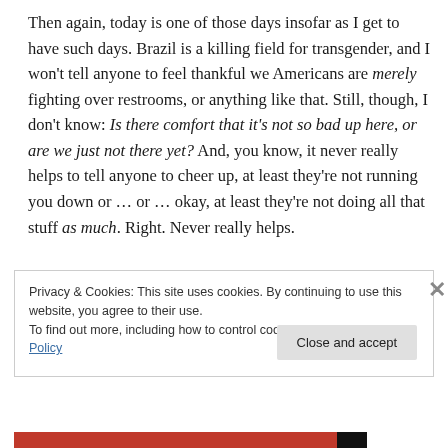Then again, today is one of those days insofar as I get to have such days. Brazil is a killing field for transgender, and I won't tell anyone to feel thankful we Americans are merely fighting over restrooms, or anything like that. Still, though, I don't know: Is there comfort that it's not so bad up here, or are we just not there yet? And, you know, it never really helps to tell anyone to cheer up, at least they're not running you down or … or … okay, at least they're not doing all that stuff as much. Right. Never really helps.
Privacy & Cookies: This site uses cookies. By continuing to use this website, you agree to their use.
To find out more, including how to control cookies, see here: Cookie Policy